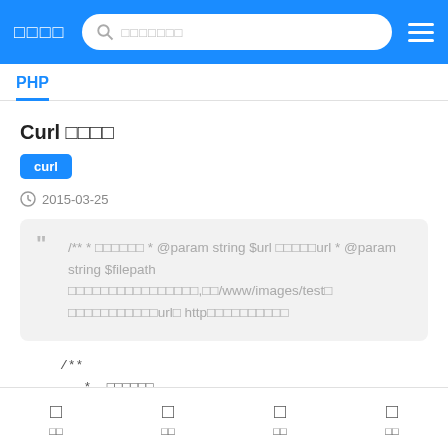□□□□  [search]  ☰
PHP
Curl □□□□
curl
🕐 2015-03-25
/** * □□□□□□ * @param string $url □□□□□url * @param string $filepath □□□□□□□□□□□□□□□□,□□/www/images/test□ □□□□□□□□□□□url□ http□□□□□□□□□□
/**
 * □□□□□□
 * @param string $url □□□□□url
□ □□  □ □□  □ □□  □ □□